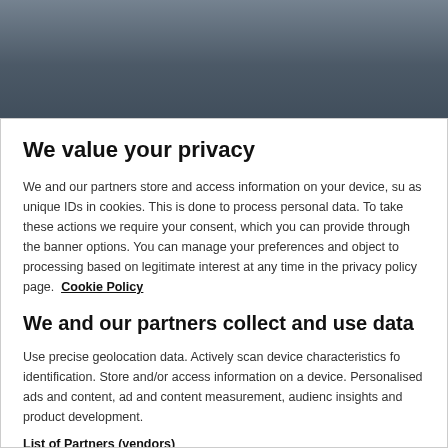[Figure (photo): Background photo of people in a crowd, partially obscured by the privacy consent modal overlay]
We value your privacy
We and our partners store and access information on your device, su as unique IDs in cookies. This is done to process personal data. To take these actions we require your consent, which you can provide through the banner options. You can manage your preferences and object to processing based on legitimate interest at any time in the privacy policy page.  Cookie Policy
We and our partners collect and use data
Use precise geolocation data. Actively scan device characteristics fo identification. Store and/or access information on a device. Personalised ads and content, ad and content measurement, audienc insights and product development.
List of Partners (vendors)
I ACCEPT